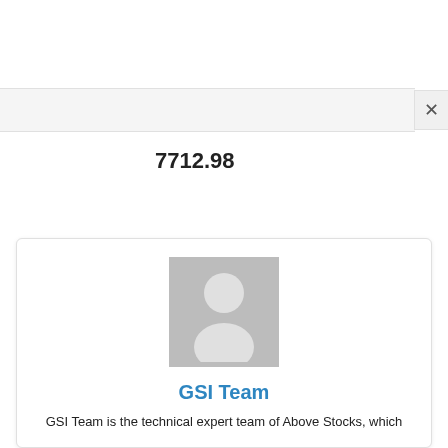7712.98
-4968.9
[Figure (illustration): Generic user avatar placeholder image (grey background with white silhouette of a person)]
GSI Team
GSI Team is the technical expert team of Above Stocks, which